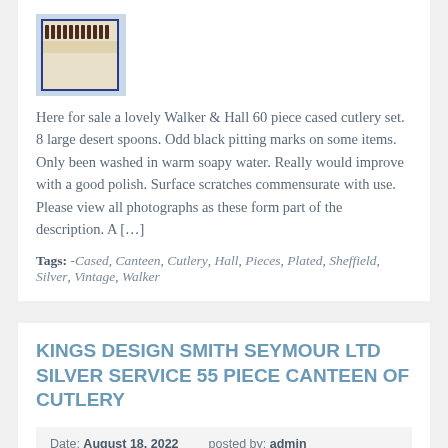[Figure (photo): Small thumbnail image of a cased cutlery set in a box with dark handles visible at top, shown inside a blue-bordered frame with light blue background]
Here for sale a lovely Walker & Hall 60 piece cased cutlery set. 8 large desert spoons. Odd black pitting marks on some items. Only been washed in warm soapy water. Really would improve with a good polish. Surface scratches commensurate with use. Please view all photographs as these form part of the description. A […]
Tags: -Cased, Canteen, Cutlery, Hall, Pieces, Plated, Sheffield, Silver, Vintage, Walker
KINGS DESIGN SMITH SEYMOUR LTD SILVER SERVICE 55 PIECE CANTEEN OF CUTLERY
Date: August 18, 2022   posted by: admin